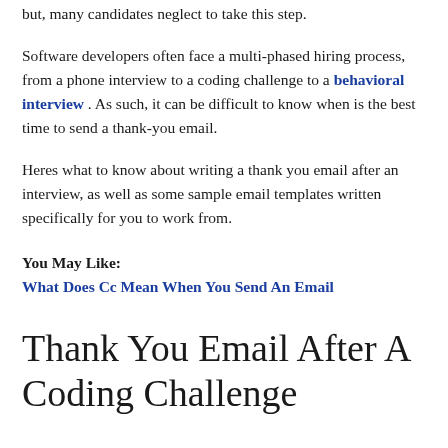but, many candidates neglect to take this step.
Software developers often face a multi-phased hiring process, from a phone interview to a coding challenge to a behavioral interview . As such, it can be difficult to know when is the best time to send a thank-you email.
Heres what to know about writing a thank you email after an interview, as well as some sample email templates written specifically for you to work from.
You May Like:
What Does Cc Mean When You Send An Email
Thank You Email After A Coding Challenge